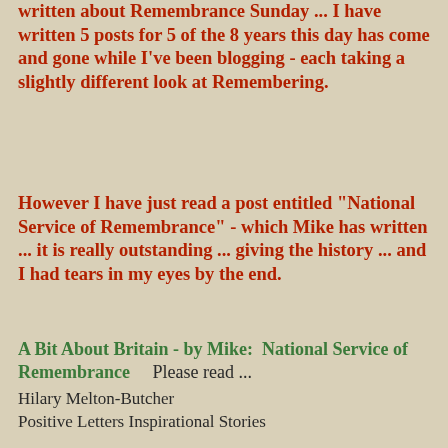written about Remembrance Sunday ... I have written 5 posts for 5 of the 8 years this day has come and gone while I've been blogging - each taking a slightly different look at Remembering.
However I have just read a post entitled "National Service of Remembrance" - which Mike has written ... it is really outstanding ... giving the history ... and I had tears in my eyes by the end.
A Bit About Britain - by Mike:  National Service of Remembrance     Please read ...
Hilary Melton-Butcher
Positive Letters Inspirational Stories